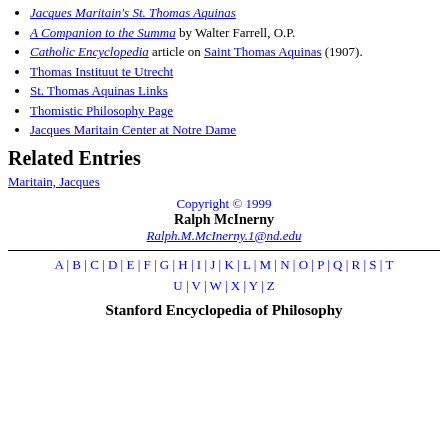Jacques Maritain's St. Thomas Aquinas
A Companion to the Summa by Walter Farrell, O.P.
Catholic Encyclopedia article on Saint Thomas Aquinas (1907).
Thomas Instituut te Utrecht
St. Thomas Aquinas Links
Thomistic Philosophy Page
Jacques Maritain Center at Notre Dame
Related Entries
Maritain, Jacques
Copyright © 1999
Ralph McInerny
Ralph.M.McInerny.1@nd.edu
A | B | C | D | E | F | G | H | I | J | K | L | M | N | O | P | Q | R | S | T | U | V | W | X | Y | Z
Stanford Encyclopedia of Philosophy